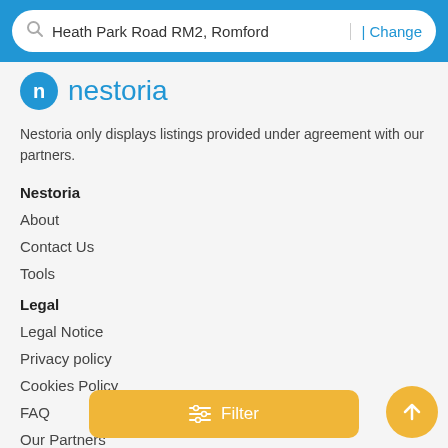Heath Park Road RM2, Romford | Change
[Figure (logo): Nestoria logo — blue circle with 'n' and blue text 'nestoria']
Nestoria only displays listings provided under agreement with our partners.
Nestoria
About
Contact Us
Tools
Legal
Legal Notice
Privacy policy
Cookies Policy
FAQ
Our Partners